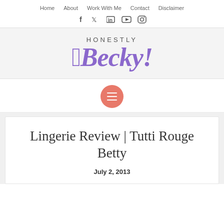Home  About  Work With Me  Contact  Disclaimer
[Figure (logo): Social media icons: Facebook (f), Twitter (bird), LinkedIn (in), YouTube (play button), Instagram (camera)]
HONESTLY Becky!
[Figure (other): Coral/salmon colored circular menu button with three white horizontal lines (hamburger menu icon)]
Lingerie Review | Tutti Rouge Betty
July 2, 2013